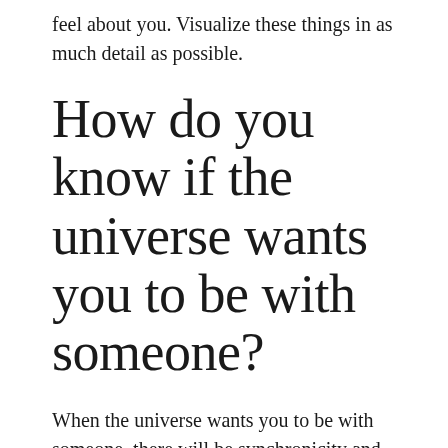feel about you. Visualize these things in as much detail as possible.
How do you know if the universe wants you to be with someone?
When the universe wants you to be with someone, there will be synchronicity and energetic flow. You'll meet someone who fulfills the characteristics of your ideal partner. Your values will align, your energies will be balanced, and